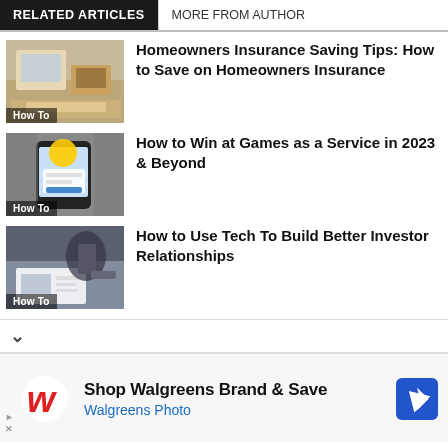RELATED ARTICLES | MORE FROM AUTHOR
[Figure (photo): Living room interior with fireplace and sofa, labeled How To]
Homeowners Insurance Saving Tips: How to Save on Homeowners Insurance
[Figure (photo): Hand holding smartphone with Pokemon Go app, labeled How To]
How to Win at Games as a Service in 2023 & Beyond
[Figure (photo): Hands at desk with documents and laptop, labeled How To]
How to Use Tech To Build Better Investor Relationships
[Figure (advertisement): Walgreens ad: Shop Walgreens Brand & Save, Walgreens Photo]